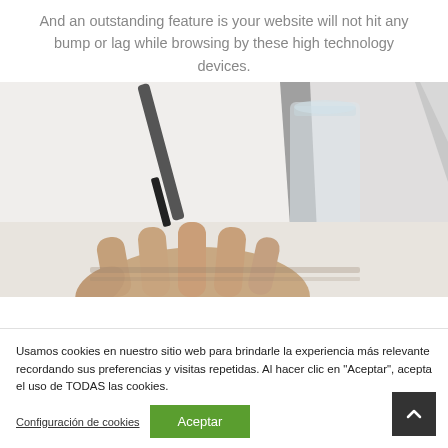And an outstanding feature is your website will not hit any bump or lag while browsing by these high technology devices.
[Figure (photo): Close-up photo of hands typing on a laptop keyboard with a glass of water in the background]
Usamos cookies en nuestro sitio web para brindarle la experiencia más relevante recordando sus preferencias y visitas repetidas. Al hacer clic en "Aceptar", acepta el uso de TODAS las cookies.
Configuración de cookies
Aceptar